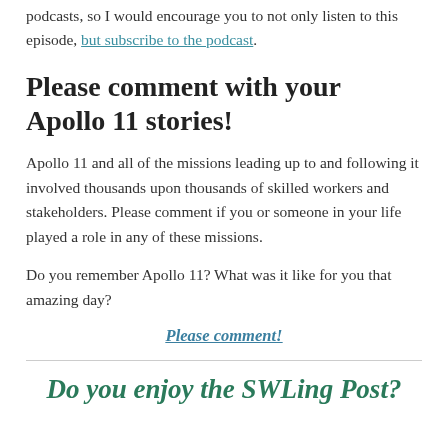podcasts, so I would encourage you to not only listen to this episode, but subscribe to the podcast.
Please comment with your Apollo 11 stories!
Apollo 11 and all of the missions leading up to and following it involved thousands upon thousands of skilled workers and stakeholders. Please comment if you or someone in your life played a role in any of these missions.
Do you remember Apollo 11? What was it like for you that amazing day?
Please comment!
Do you enjoy the SWLing Post?